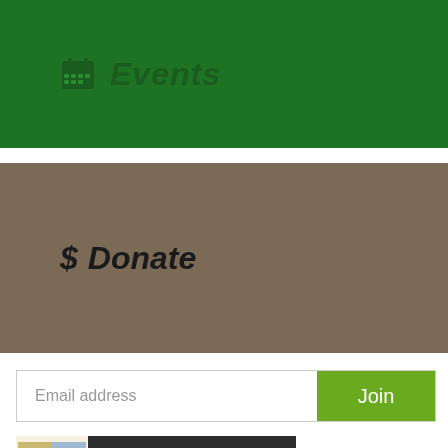Events
$ Donate
Email address
Join
[Figure (screenshot): Friends of Nevada Wilderness Facebook page social media card showing logo, page name 'Friends of N...', verified badge, and '19K followers']